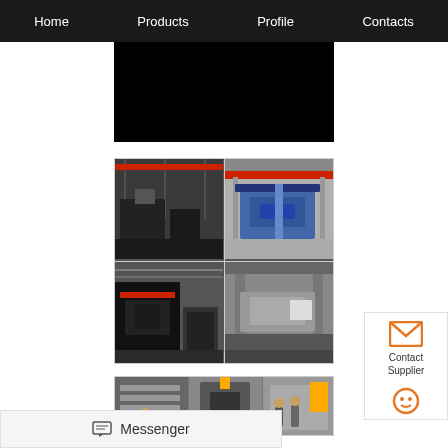Home | Products | Profile | Contacts
[Figure (photo): Black rectangle - partially visible image at top center]
[Figure (photo): 2x2 grid of factory/manufacturing facility interior photos showing industrial machinery, CNC machines, and manufacturing equipment with red crane beams]
[Figure (photo): Bottom strip of factory interior photos showing workers and industrial press equipment]
Messenger
Contact Supplier